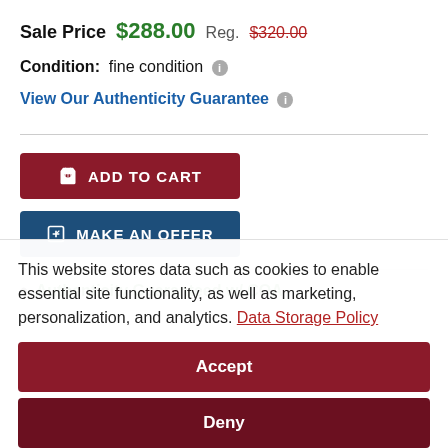Sale Price $288.00  Reg. $320.00
Condition: fine condition
View Our Authenticity Guarantee
[Figure (other): ADD TO CART button (dark red)]
[Figure (other): MAKE AN OFFER button (dark blue)]
Authenticity Guaranteed w/ COA
This website stores data such as cookies to enable essential site functionality, as well as marketing, personalization, and analytics. Data Storage Policy
[Figure (other): Accept button (dark red)]
[Figure (other): Deny button (dark maroon)]